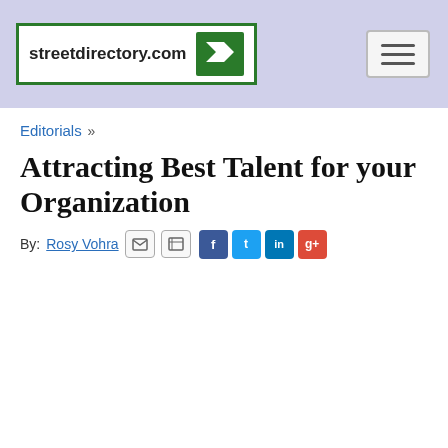streetdirectory.com
Editorials »
Attracting Best Talent for your Organization
By: Rosy Vohra